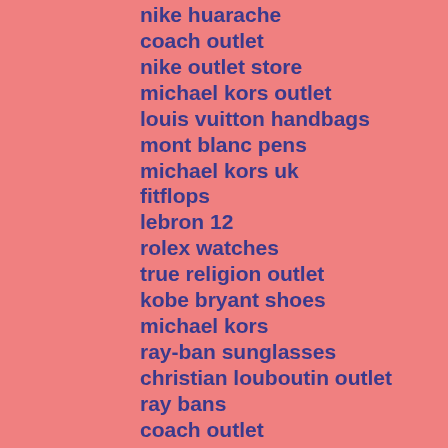nike huarache
coach outlet
nike outlet store
michael kors outlet
louis vuitton handbags
mont blanc pens
michael kors uk
fitflops
lebron 12
rolex watches
true religion outlet
kobe bryant shoes
michael kors
ray-ban sunglasses
christian louboutin outlet
ray bans
coach outlet
hollister outlet
air jordan 13
ray ban outlet
coach outlet
ray ban sunglasses
coach outlet online